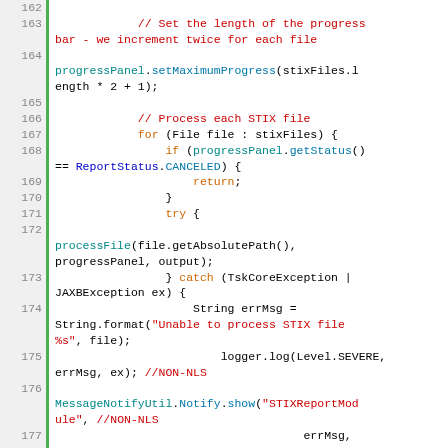[Figure (screenshot): Java source code editor view showing lines 162-182, with line numbers on the left, green vertical bar, and syntax-highlighted code. Comments in red, keywords in orange/blue, method calls in teal/blue.]